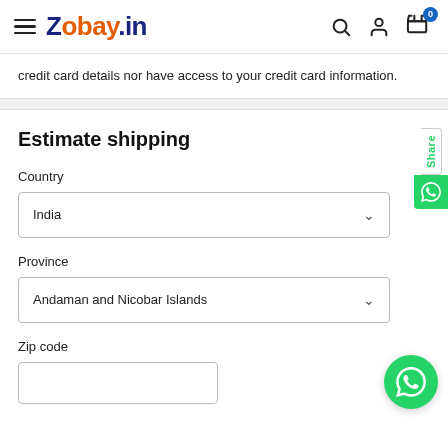Zobay.in
credit card details nor have access to your credit card information.
Estimate shipping
Country
India
Province
Andaman and Nicobar Islands
Zip code